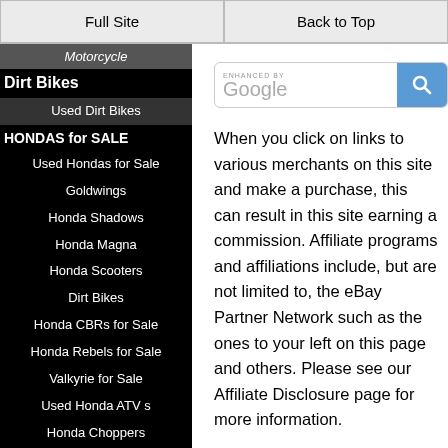Full Site | Back to Top
Motorcycle
Dirt Bikes
Used Dirt Bikes
HONDAS for SALE
Used Hondas for Sale
Goldwings
Honda Shadows
Honda Magna
Honda Scooters
Dirt Bikes
Honda CBRs for Sale
Honda Rebels for Sale
Valkyrie for Sale
Used Honda ATV s
Honda Choppers
HARLEYS for SALE
Harley Davidson for
[Figure (screenshot): Enhanced by Google search bar with search button]
When you click on links to various merchants on this site and make a purchase, this can result in this site earning a commission. Affiliate programs and affiliations include, but are not limited to, the eBay Partner Network such as the ones to your left on this page and others. Please see our Affiliate Disclosure page for more information.